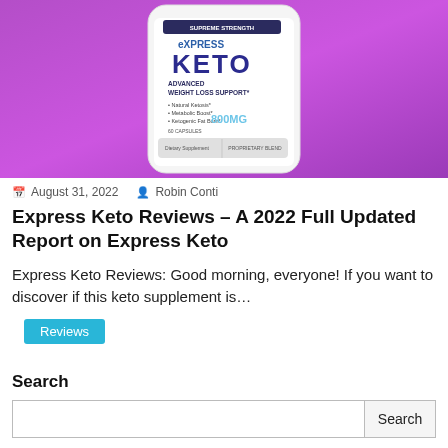[Figure (photo): Express Keto supplement bottle on purple gradient background. The white bottle label shows 'EXPRESS KETO' in large blue/purple text, 'ADVANCED WEIGHT LOSS SUPPORT', bullet points for Natural Ketosis, Metabolic Boost, Ketogenic Fat Burn, 800MG, 60 CAPSULES, Dietary Supplement, Proprietary Blend.]
August 31, 2022   Robin Conti
Express Keto Reviews – A 2022 Full Updated Report on Express Keto
Express Keto Reviews: Good morning, everyone! If you want to discover if this keto supplement is…
Reviews
Search